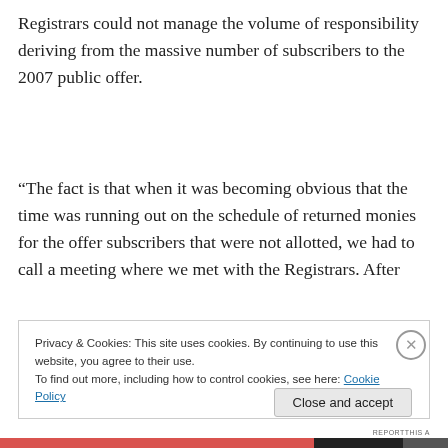Registrars could not manage the volume of responsibility deriving from the massive number of subscribers to the 2007 public offer.
“The fact is that when it was becoming obvious that the time was running out on the schedule of returned monies for the offer subscribers that were not allotted, we had to call a meeting where we met with the Registrars. After
Privacy & Cookies: This site uses cookies. By continuing to use this website, you agree to their use.
To find out more, including how to control cookies, see here: Cookie Policy